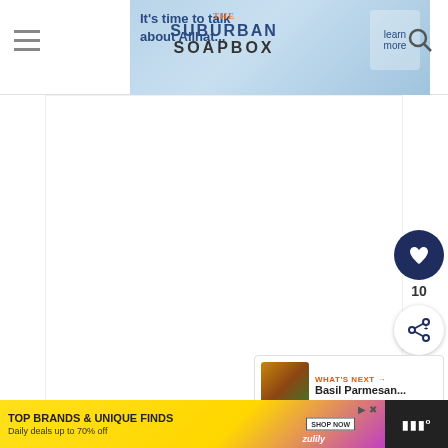The Suburban Soapbox
[Figure (screenshot): Website header with hamburger menu icon on left, The Suburban Soapbox logo in center, search icon on right, and a banner advertisement in background]
[Figure (screenshot): Large white/blank content area in the center of the page]
[Figure (screenshot): Heart/like button (dark navy circle with heart icon) showing count of 10, and a share button below it on the right side]
10
WHAT'S NEXT → Basil Parmesan...
[Figure (photo): Food thumbnail image next to 'What's Next' section showing Basil Parmesan dish]
[Figure (photo): Bottom blurred photo strip showing food/ingredients]
[Figure (screenshot): Advertisement banner: TOP BRANDS & UNIQUE FINDS - Daily deals up to 70% off - zulily - SHOP NOW]